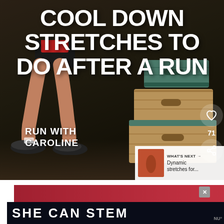[Figure (screenshot): Video thumbnail showing a runner's legs on a track with step boxes in the background. Bold white text overlaid reads 'COOL DOWN STRETCHES TO DO AFTER A RUN'. Branding 'RUN WITH CAROLINE' at bottom left. Side UI shows heart icon, count 71, and share icon. 'WHAT'S NEXT' panel shows thumbnail and text 'Dynamic stretches for...']
COOL DOWN STRETCHES TO DO AFTER A RUN
RUN WITH CAROLINE
71
WHAT'S NEXT → Dynamic stretches for...
[Figure (infographic): Advertisement banner. Top portion shows a red/maroon gradient banner with an X close button. Bottom dark navy banner reads 'SHE CAN STEM' in large bold white uppercase letters.]
SHE CAN STEM